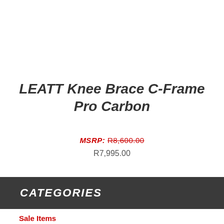LEATT Knee Brace C-Frame Pro Carbon
MSRP: R8,600.00
R7,995.00
CATEGORIES
Sale Items